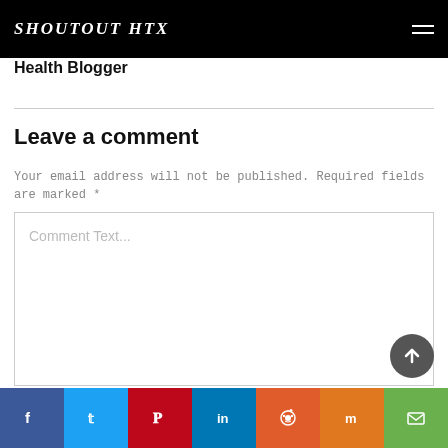SHOUTOUT HTX
Health Blogger
Leave a comment
Your email address will not be published. Required fields are marked *
Comment Text...